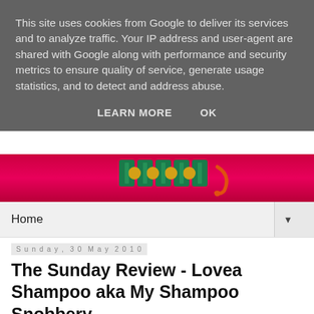This site uses cookies from Google to deliver its services and to analyze traffic. Your IP address and user-agent are shared with Google along with performance and security metrics to ensure quality of service, generate usage statistics, and to detect and address abuse.
LEARN MORE   OK
[Figure (illustration): Decorative blog header banner with colorful illustrated text/logo on a pink/red background]
Home ▼
Sunday, 30 May 2010
The Sunday Review - Lovea Shampoo aka My Shampoo Snobbery
In the first of two reviews today, I'm going to tell you about my shampoo snobbery. I'm really fussy about shampoo. In my entire life I have tried about a gazillion different brands but have found only 3 shampoos that I like enough to go back to. One of them stops hair loss so was really only